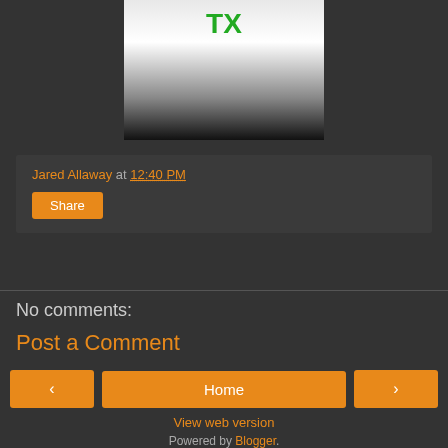[Figure (photo): Partial photo of a person wearing a white t-shirt with green TX logo and black pants, cropped from torso down]
Jared Allaway at 12:40 PM
Share
No comments:
Post a Comment
‹
Home
›
View web version
Powered by Blogger.